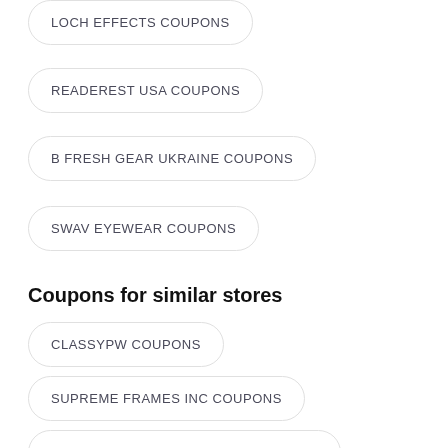LOCH EFFECTS COUPONS
READEREST USA COUPONS
B FRESH GEAR UKRAINE COUPONS
SWAV EYEWEAR COUPONS
Coupons for similar stores
CLASSYPW COUPONS
SUPREME FRAMES INC COUPONS
SUNDAY SHADES COLOMBIA COUPONS